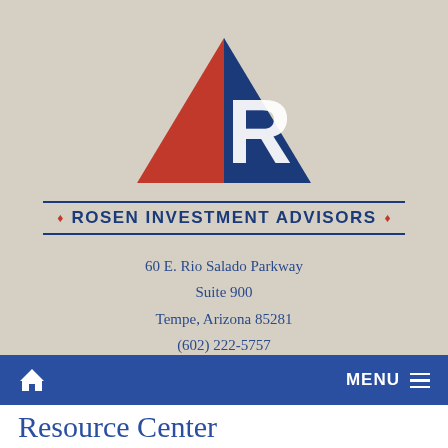[Figure (logo): Rosen Investment Advisors logo: red and blue triangles forming a stylized letter R]
ROSEN INVESTMENT ADVISORS
60 E. Rio Salado Parkway
Suite 900
Tempe, Arizona 85281
(602) 222-5757
aer@rialtd.com
Home  MENU
Resource Center